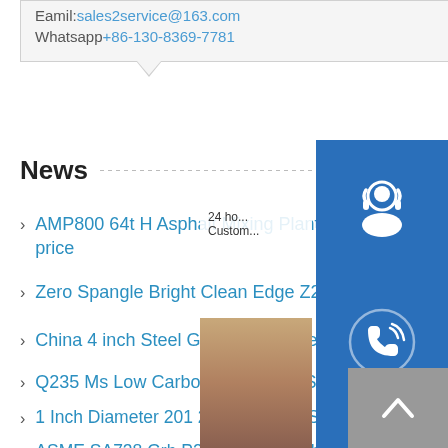Eamil:sales2service@163.com
Whatsapp+86-130-8369-7781
News
AMP800 64t H Asphalt Mixing Plants Hot Agg price
Zero Spangle Bright Clean Edge Z275 Galvan...
China 4 inch Steel Galvanized Pipe Prices
Q235 Ms Low Carbon Hot Rolled Steel Sheet 10mm Steel
1 Inch Diameter 201 202 Stainless Steel Decoration Pipe
ASME SA738 Grb P265gh A533 Grb Nuclear Power Steel
[Figure (screenshot): Right-side floating UI with customer service icon, phone icon, Skype icon, chat panel with 'Chat Now' button, and person photo overlay]